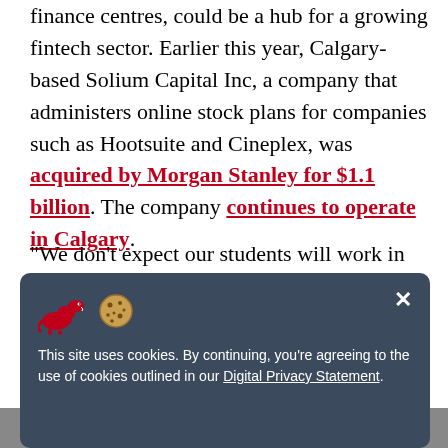finance centres, could be a hub for a growing fintech sector. Earlier this year, Calgary-based Solium Capital Inc, a company that administers online stock plans for companies such as Hootsuite and Cineplex, was acquired by Morgan Stanley for $1.1 billion. The company continues to operate in Calgary.
"We don't expect our students will work in the fintech industry right away, much of the demand in this growing industry is concentrated on the technology side right now," says Choi. “But we do expect that soon the demand for finance students with fintech background will increase
[Figure (screenshot): Cookie consent banner with dinosaur and cookie emoji icons. Text reads: 'This site uses cookies. By continuing, you're agreeing to the use of cookies outlined in our Digital Privacy Statement.' with an X close button.]